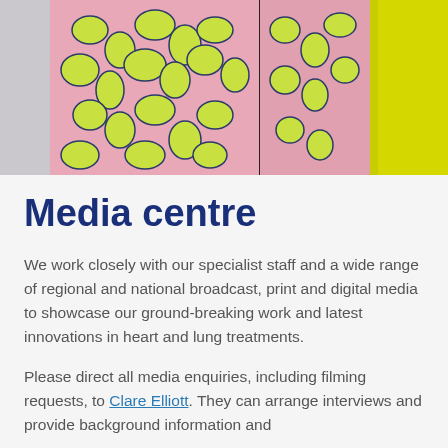[Figure (photo): Close-up photograph of decorative boxes or packaging with a pink background and yellow-green botanical/leaf pattern design in dark blue outline, with a yellow object visible at the right edge.]
Media centre
We work closely with our specialist staff and a wide range of regional and national broadcast, print and digital media to showcase our ground-breaking work and latest innovations in heart and lung treatments.
Please direct all media enquiries, including filming requests, to Clare Elliott. They can arrange interviews and provide background information and